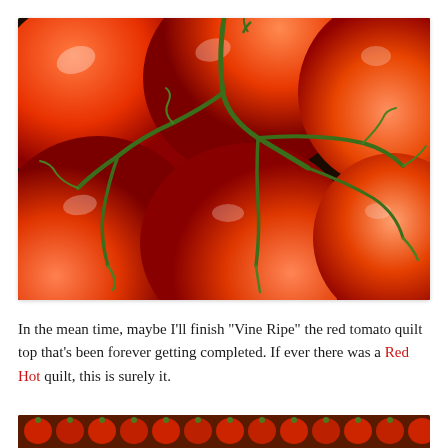[Figure (photo): Close-up photograph of several bright red vine-ripe tomatoes with green stems/vines attached, filling the entire frame.]
In the mean time, maybe I'll finish "Vine Ripe" the red tomato quilt top that's been forever getting completed. If ever there was a Red Hot quilt, this is surely it.
[Figure (photo): Partial view of another tomato photo at the bottom of the page, showing rows of red tomatoes.]